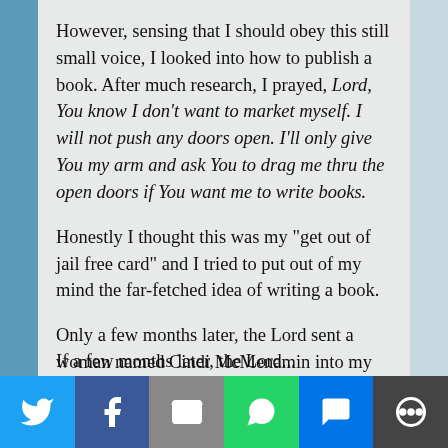However, sensing that I should obey this still small voice, I looked into how to publish a book. After much research, I prayed, Lord, You know I don't want to market myself. I will not push any doors open. I'll only give You my arm and ask You to drag me thru the open doors if You want me to write books.
Honestly I thought this was my "get out of jail free card" and I tried to put out of my mind the far-fetched idea of writing a book.
Only a few months later, the Lord sent a woman named Cindi McMenamin into my path at a ministers' wives event where we both were teaching.
If...
[Figure (infographic): Social share bar with Twitter, Facebook, Email, WhatsApp, SMS, and More buttons]